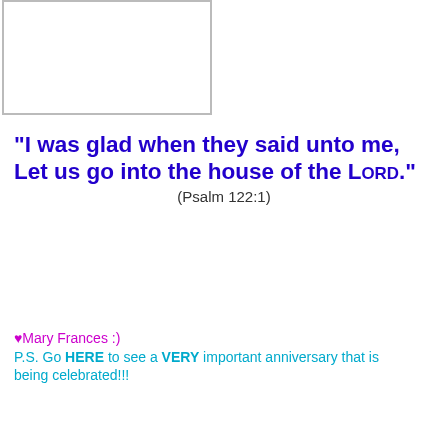[Figure (other): White rectangle with border, image placeholder]
"I was glad when they said unto me, Let us go into the house of the LORD." (Psalm 122:1)
♥Mary Frances :)
P.S. Go HERE to see a VERY important anniversary that is being celebrated!!!
Mary Frances at 3:57:00 PM
Share
Saturday, August 16, 2014
I'm SOOOOOOOO JEALOUS!!!!
WARNING!!!!